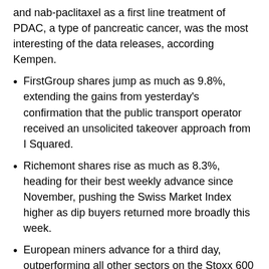and nab-paclitaxel as a first line treatment of PDAC, a type of pancreatic cancer, was the most interesting of the data releases, according Kempen.
FirstGroup shares jump as much as 9.8%, extending the gains from yesterday's confirmation that the public transport operator received an unsolicited takeover approach from I Squared.
Richemont shares rise as much as 8.3%, heading for their best weekly advance since November, pushing the Swiss Market Index higher as dip buyers returned more broadly this week.
European miners advance for a third day, outperforming all other sectors on the Stoxx 600 on Friday as iron ore futures climb and metals posted broad gains.
Hapag-Lloyd falls as much as 7.1% after Citi cut the recommendation to neutral from buy due to valuation versus peers. In note on European shipping, broker says it expects the